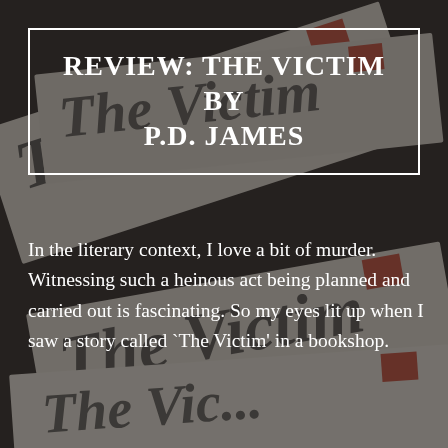[Figure (photo): Stacked newspaper pages with 'The Victim' printed in large serif font visible on each, angled and overlapping, in dark monochrome tones with small red rectangles visible on upper right corners of each paper. Dark background.]
REVIEW: THE VICTIM BY P.D. JAMES
In the literary context, I love a bit of murder. Witnessing such a heinous act being planned and carried out is fascinating. So my eyes lit up when I saw a story called `The Victim' in a bookshop.